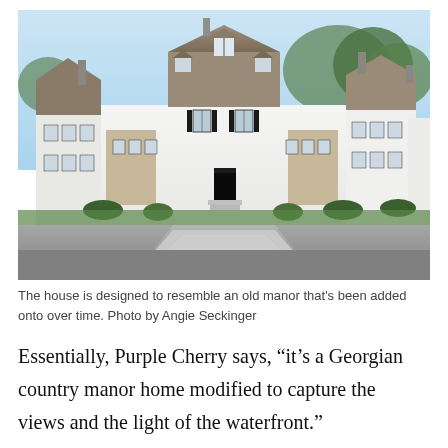[Figure (photo): Exterior front view of a large white Georgian-style country manor home with multiple gabled dormers, stone accents, black shutters, and a circular paved driveway turnaround in the foreground. Trees visible in background under a light blue sky.]
The house is designed to resemble an old manor that’s been added onto over time. Photo by Angie Seckinger
Essentially, Purple Cherry says, “it’s a Georgian country manor home modified to capture the views and the light of the waterfront.”